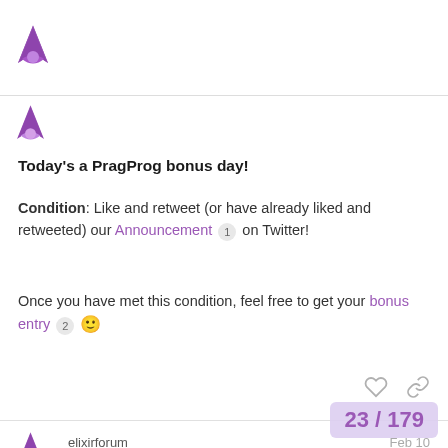Elixir Forum
Today's a PragProg bonus day!
Condition: Like and retweet (or have already liked and retweeted) our Announcement 1 on Twitter!
Once you have met this condition, feel free to get your bonus entry 2 🙂
elixirforum  Feb 10
Today's a ElixirCasts bonus day!
Condition: Simply post on the forum today!
Once you have met this condition, feel free
23 / 179